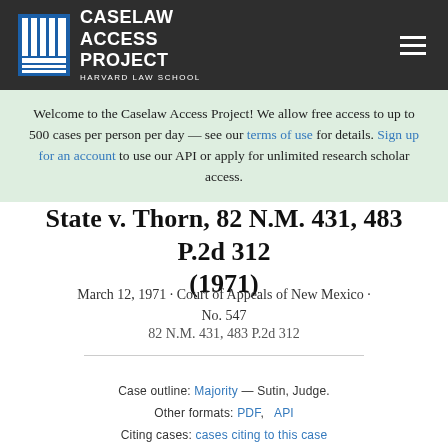CASELAW ACCESS PROJECT — HARVARD LAW SCHOOL
Welcome to the Caselaw Access Project! We allow free access to up to 500 cases per person per day — see our terms of use for details. Sign up for an account to use our API or apply for unlimited research scholar access.
State v. Thorn, 82 N.M. 431, 483 P.2d 312 (1971)
March 12, 1971 · Court of Appeals of New Mexico · No. 547
82 N.M. 431, 483 P.2d 312
Case outline: Majority — Sutin, Judge.
Other formats: PDF,   API
Citing cases: cases citing to this case